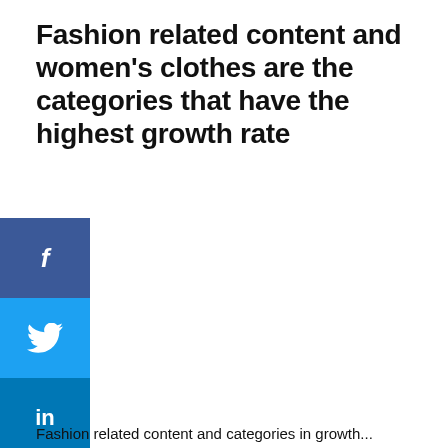Fashion related content and women's clothes are the categories that have the highest growth rate
[Figure (other): Social media share buttons: Facebook (dark blue), Twitter (light blue), LinkedIn (dark cyan blue), displayed as a vertical stack on the left side]
Fashion related content and categories in growth...